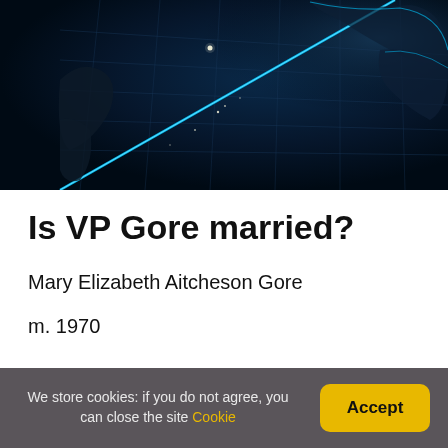[Figure (photo): Dark globe/earth from space with glowing blue grid lines and continent outlines, night-time satellite view, science/news media style image]
Is VP Gore married?
Mary Elizabeth Aitcheson Gore
m. 1970
We store cookies: if you do not agree, you can close the site Cookie